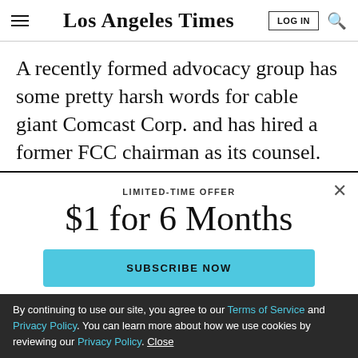Los Angeles Times
A recently formed advocacy group has some pretty harsh words for cable giant Comcast Corp. and has hired a former FCC chairman as its counsel.
LIMITED-TIME OFFER
$1 for 6 Months
SUBSCRIBE NOW
By continuing to use our site, you agree to our Terms of Service and Privacy Policy. You can learn more about how we use cookies by reviewing our Privacy Policy. Close